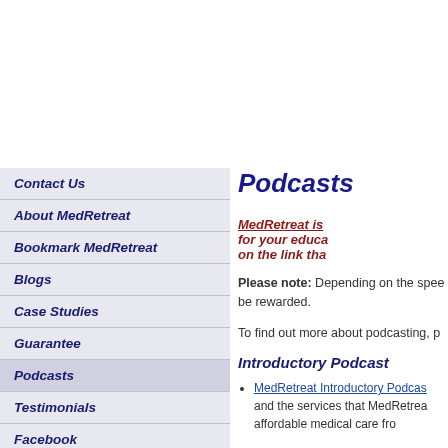Contact Us
About MedRetreat
Bookmark MedRetreat
Blogs
Case Studies
Guarantee
Podcasts
Testimonials
Facebook
Twitter
U.S. Affiliations
Podcasts
MedRetreat is ... for your educa... on the link tha...
Please note: Depending on the spee... be rewarded.
To find out more about podcasting, p...
Introductory Podcast
MedRetreat Introductory Podcas... and the services that MedRetrea... affordable medical care fro...